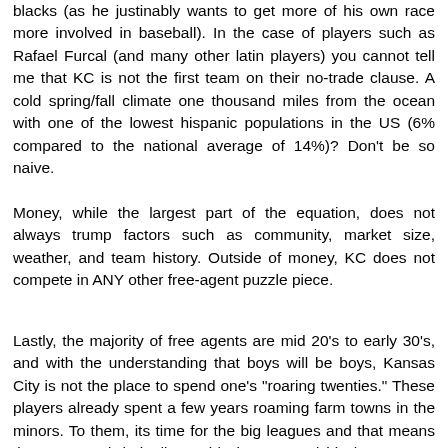blacks (as he justinably wants to get more of his own race more involved in baseball). In the case of players such as Rafael Furcal (and many other latin players) you cannot tell me that KC is not the first team on their no-trade clause. A cold spring/fall climate one thousand miles from the ocean with one of the lowest hispanic populations in the US (6% compared to the national average of 14%)? Don't be so naive.
Money, while the largest part of the equation, does not always trump factors such as community, market size, weather, and team history. Outside of money, KC does not compete in ANY other free-agent puzzle piece.
Lastly, the majority of free agents are mid 20's to early 30's, and with the understanding that boys will be boys, Kansas City is not the place to spend one's "roaring twenties." These players already spent a few years roaming farm towns in the minors. To them, its time for the big leagues and that means time to spend their disposable income and hit the town on Saturday nights. Regardless of the urban rennovation in KC (which I greatly appreciate as a 26 year old myself), we are still just a glorified composite of